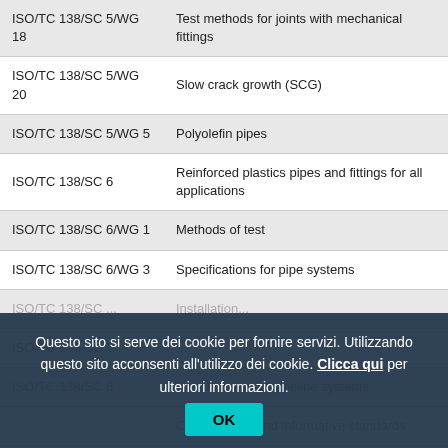| Code | Description |
| --- | --- |
| ISO/TC 138/SC 5/WG 18 | Test methods for joints with mechanical fittings |
| ISO/TC 138/SC 5/WG 20 | Slow crack growth (SCG) |
| ISO/TC 138/SC 5/WG 5 | Polyolefin pipes |
| ISO/TC 138/SC 6 | Reinforced plastics pipes and fittings for all applications |
| ISO/TC 138/SC 6/WG 1 | Methods of test |
| ISO/TC 138/SC 6/WG 3 | Specifications for pipe systems |
| ISO/TC 138/SC ... | Installation... |
| ISO/TC 138/SC 7 | ... |
| ISO/TC 138/SC 8 | Rehabilitation of pipeline systems |
| ... | Classification and informative standards |
Questo sito si serve dei cookie per fornire servizi. Utilizzando questo sito acconsenti all'utilizzo dei cookie. Clicca qui per ulteriori informazioni.